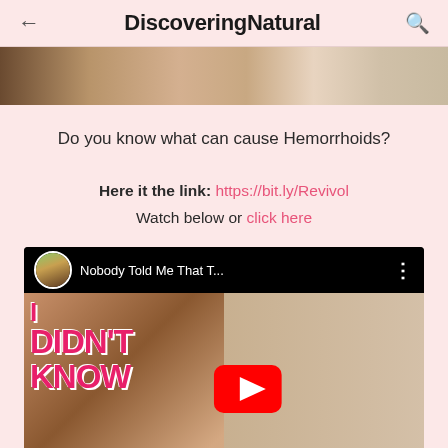DiscoveringNatural
[Figure (photo): Partial top of a photo showing person(s), cropped at top]
Do you know what can cause Hemorrhoids?
Here it the link:  https://bit.ly/Revivol
Watch below or click here
[Figure (screenshot): YouTube video thumbnail titled 'Nobody Told Me That T...' with text overlay 'I DIDN'T KNOW' and YouTube play button]